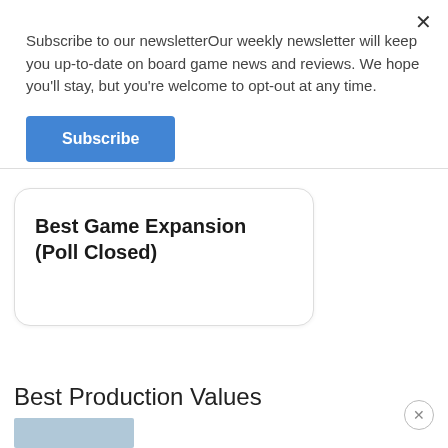Subscribe to our newsletterOur weekly newsletter will keep you up-to-date on board game news and reviews. We hope you'll stay, but you're welcome to opt-out at any time.
Subscribe
Best Game Expansion (Poll Closed)
Best Production Values